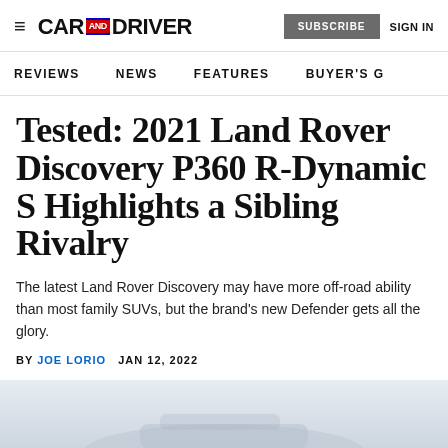CAR AND DRIVER — SUBSCRIBE  SIGN IN
REVIEWS   NEWS   FEATURES   BUYER'S G
Tested: 2021 Land Rover Discovery P360 R-Dynamic S Highlights a Sibling Rivalry
The latest Land Rover Discovery may have more off-road ability than most family SUVs, but the brand's new Defender gets all the glory.
BY JOE LORIO   JAN 12, 2022
[Figure (photo): Bottom portion of page showing light gray/blue background, partial view of a Land Rover Discovery vehicle]